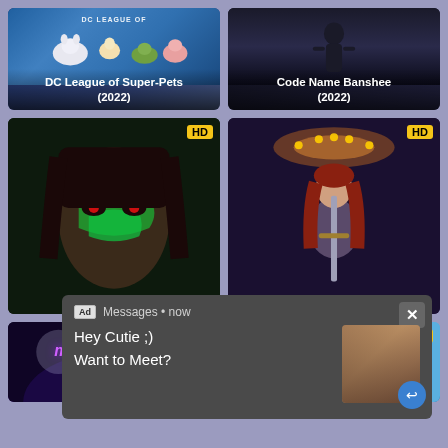[Figure (screenshot): Movie streaming grid showing DC League of Super-Pets (2022), Code Name Banshee (2022), two HD-labeled movie cards (woman with green face paint, fantasy girl with sword), a popup ad overlay with text 'Hey Cutie ;) Want to Meet?', and two partial movie cards at the bottom (Monster Man - The Movie, animated cartoon movie)]
DC League of Super-Pets (2022)
Code Name Banshee (2022)
HD
HD
Ad Messages • now
Hey Cutie ;)
Want to Meet?